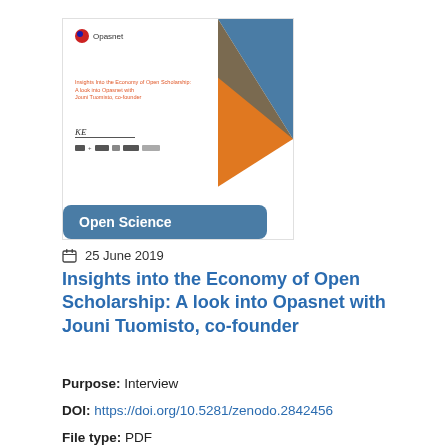[Figure (illustration): Thumbnail of a document cover page showing Opasnet logo, title text 'Insights into the Economy of Open Scholarship: A look into Opasnet with Jouni Tuomisto, co-founder', a KE signature line, logos row, geometric shapes (blue, brown, orange triangles) at top right, and an 'Open Science' badge in teal-blue at the bottom.]
25 June 2019
Insights into the Economy of Open Scholarship: A look into Opasnet with Jouni Tuomisto, co-founder
Purpose: Interview
DOI: https://doi.org/10.5281/zenodo.2842456
File type: PDF